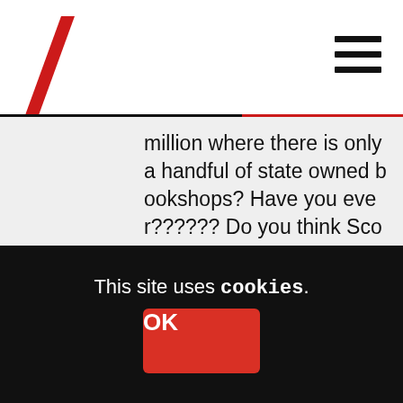Site header with logo and hamburger menu
million where there is only a handful of state owned bookshops? Have you ever?????? Do you think Scotland is really oppressed ???????????????????????????????????????????????????
Reply
Dr Strange.
13th April 2015 at 2:24 am
Still mis-framing and obstinately missing the point entirely. And I am
This site uses cookies. OK